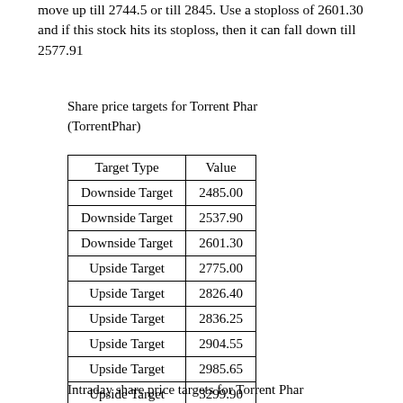move up till 2744.5 or till 2845. Use a stoploss of 2601.30 and if this stock hits its stoploss, then it can fall down till 2577.91
Share price targets for Torrent Phar (TorrentPhar)
| Target Type | Value |
| --- | --- |
| Downside Target | 2485.00 |
| Downside Target | 2537.90 |
| Downside Target | 2601.30 |
| Upside Target | 2775.00 |
| Upside Target | 2826.40 |
| Upside Target | 2836.25 |
| Upside Target | 2904.55 |
| Upside Target | 2985.65 |
| Upside Target | 3299.90 |
Intraday share price targets for Torrent Phar